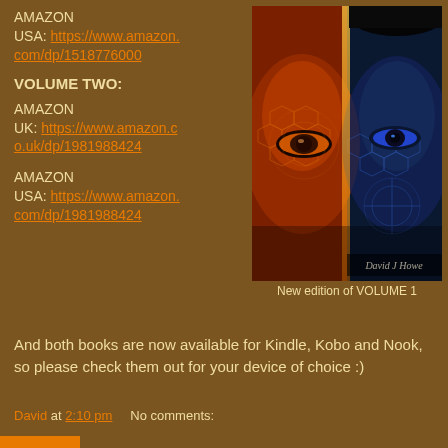AMAZON USA: https://www.amazon.com/dp/1518776000
VOLUME TWO:
AMAZON UK: https://www.amazon.co.uk/dp/1981988424
AMAZON USA: https://www.amazon.com/dp/1981988424
[Figure (photo): Book cover of David J Howe's novel, showing a split face with one half glowing orange/red with a fiery eye and hexagonal patterns, and the other half blue/cyan with a robotic eye and circuit patterns. Author name 'David J Howe' shown at the bottom.]
New edition of VOLUME 1
And both books are now available for Kindle, Kobo and Nook, so please check them out for your device of choice :)
David at 2:10 pm    No comments: